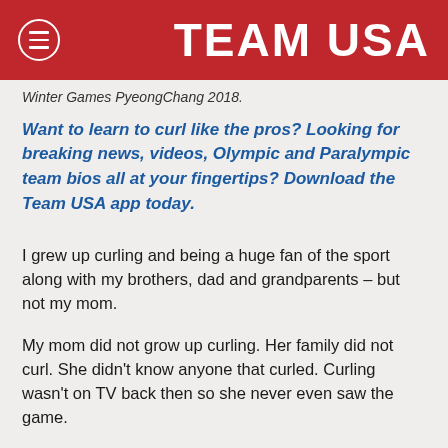TEAM USA
Winter Games PyeongChang 2018.
Want to learn to curl like the pros? Looking for breaking news, videos, Olympic and Paralympic team bios all at your fingertips? Download the Team USA app today.
I grew up curling and being a huge fan of the sport along with my brothers, dad and grandparents – but not my mom.
My mom did not grow up curling. Her family did not curl. She didn't know anyone that curled. Curling wasn't on TV back then so she never even saw the game.